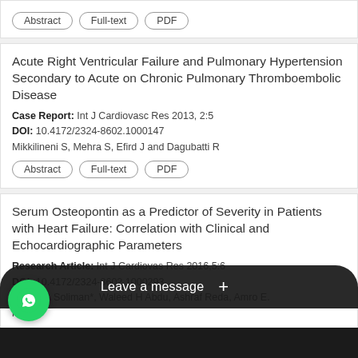Abstract | Full-text | PDF
Acute Right Ventricular Failure and Pulmonary Hypertension Secondary to Acute on Chronic Pulmonary Thromboembolic Disease
Case Report: Int J Cardiovasc Res 2013, 2:5
DOI: 10.4172/2324-8602.1000147
Mikkilineni S, Mehra S, Efird J and Dagubatti R
Abstract | Full-text | PDF
Serum Osteopontin as a Predictor of Severity in Patients with Heart Failure: Correlation with Clinical and Echocardiographic Parameters
Research Article: Int J Cardiovas Res 2016,5:6
DOI: 10.4172/2324-8602.1000293
moud A Soliman*, Waleed H Abdu, Ashraf Reda, Amro E. ka
[Figure (screenshot): WhatsApp chat widget overlay with green phone icon and 'Leave a message +' dark bar at bottom of screen]